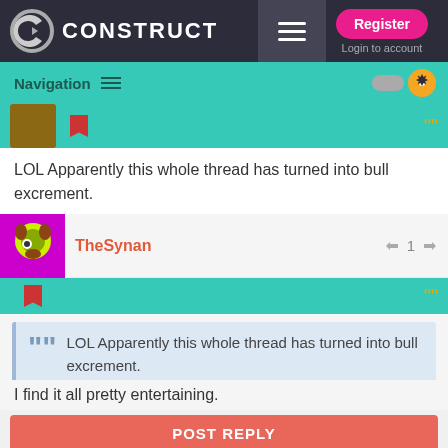[Figure (screenshot): Construct website top navigation bar with logo, hamburger menu, Register button, and Login to account link]
Navigation
LOL Apparently this whole thread has turned into bull excrement.
TheSynan  👍 1 👎
LOL Apparently this whole thread has turned into bull excrement.
I find it all pretty entertaining.
POST REPLY